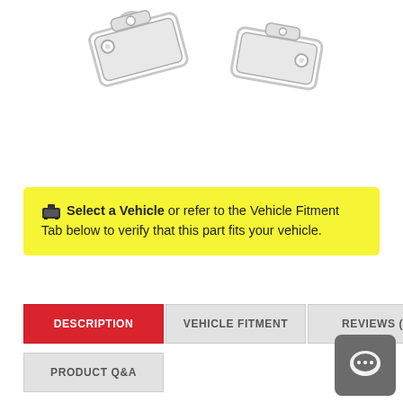[Figure (photo): Two metallic bracket/plate parts shown on white background at the top of the page]
🚗 Select a Vehicle or refer to the Vehicle Fitment Tab below to verify that this part fits your vehicle.
DESCRIPTION | VEHICLE FITMENT | REVIEWS (0) | PRODUCT Q&A (tabs)